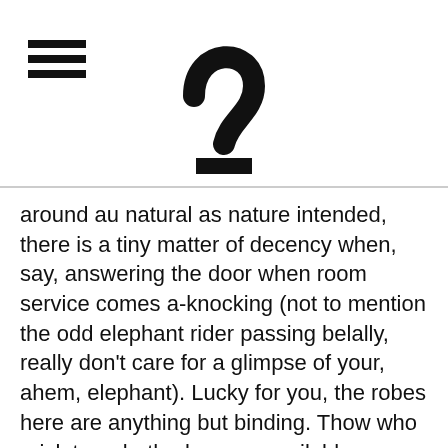[hamburger menu icon and logo/question mark symbol]
around au natural as nature intended, there is a tiny matter of decency when, say, answering the door when room service comes a-knocking (not to mention the odd elephant rider passing belally, really don't care for a glimpse of your, ahem, elephant). Lucky for you, the robes here are anything but binding. Thow who reick terry bathrobes are available upon request, but for breathability in the (nearly) buff, we prefer the ultra-lightweight cotton versions, rendered in a soothing peach-and-nude leaf print. Tarzan would approve.